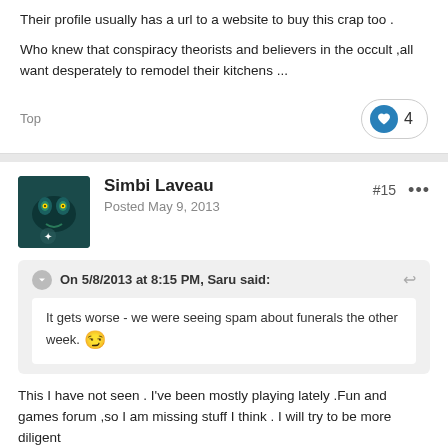Their profile usually has a url to a website to buy this crap too .
Who knew that conspiracy theorists and believers in the occult ,all want desperately to remodel their kitchens ...
Top
4
Simbi Laveau
Posted May 9, 2013
#15
On 5/8/2013 at 8:15 PM, Saru said:
It gets worse - we were seeing spam about funerals the other week. 😏
This I have not seen . I've been mostly playing lately .Fun and games forum ,so I am missing stuff I think . I will try to be more diligent